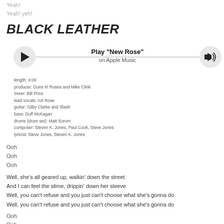Yeah!
Yeah! yeh!
BLACK LEATHER
[Figure (other): Music player widget showing Play 'New Rose' on Apple Music with play button and volume button connected by a line]
length: 4:09
producer: Guns N' Roses and Mike Clink
mixer: Bill Price
lead vocals: Axl Rose
guitar: Gilby Clarke and Slash
bass: Duff McKagan
drums (drum set): Matt Sorum
composer: Steven K. Jones, Paul Cook, Steve Jones
lyricist: Steve Jones, Steven K. Jones
Ooh
Ooh
Ooh
Well, she's all geared up, walkin' down the street
And I can feel the slime, drippin' down her sleeve
Well, you can't refuse and you just can't choose what she's gonna do
Well, you can't refuse and you just can't choose what she's gonna do
Ooh
Ooh